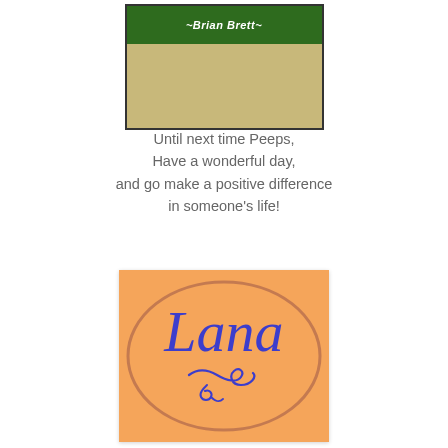[Figure (illustration): Partial view of a burlap/canvas textured square image with a dark green banner at top reading '~Brian Brett~' in white italic text]
Until next time Peeps,
Have a wonderful day,
and go make a positive difference
in someone's life!
[Figure (illustration): Orange background image with an oval border containing the cursive name 'Lana' in blue script lettering with decorative flourish below]